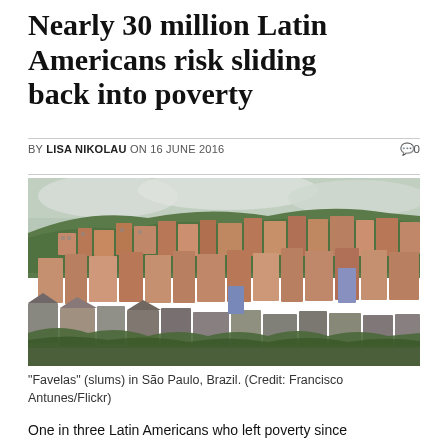Nearly 30 million Latin Americans risk sliding back into poverty
BY LISA NIKOLAU ON 16 JUNE 2016
[Figure (photo): Favelas (slums) densely packed on a hillside in São Paulo, Brazil. Brick and concrete structures of varying colors crowd the slope under a cloudy sky.]
"Favelas" (slums) in São Paulo, Brazil. (Credit: Francisco Antunes/Flickr)
One in three Latin Americans who left poverty since